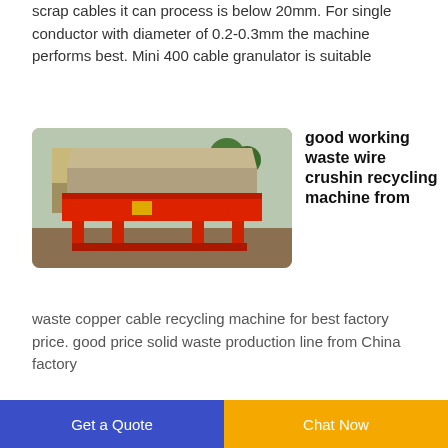scrap cables it can process is below 20mm. For single conductor with diameter of 0.2-0.3mm the machine performs best. Mini 400 cable granulator is suitable
[Figure (photo): Photo of a red industrial wire crushing/granulating machine outdoors in a factory yard, with a corrugated metal shed and trees in the background.]
good working waste wire crushin recycling machine from
waste copper cable recycling machine for best factory price. good price solid waste production line from China factory
Get a Quote
Chat Now